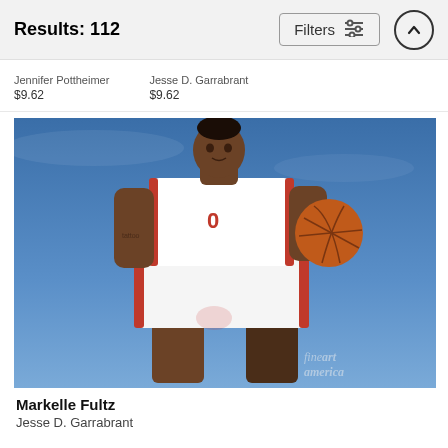Results: 112
Jennifer Pottheimer
$9.62
Jesse D. Garrabrant
$9.62
[Figure (photo): Basketball player Markelle Fultz in Philadelphia 76ers white uniform holding a basketball, photographed from a low angle against a blue sky. Fine Art America watermark visible in bottom right corner.]
Markelle Fultz
Jesse D. Garrabrant